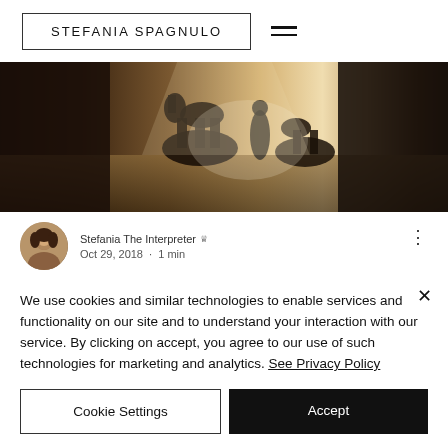STEFANIA SPAGNULO
[Figure (photo): Interior of a horse stable with silhouettes of horses and a person visible in warm backlit light]
Stefania The Interpreter 👑 Admin
Oct 29, 2018 · 1 min
Equestrian translations: the language of horses
We use cookies and similar technologies to enable services and functionality on our site and to understand your interaction with our service. By clicking on accept, you agree to our use of such technologies for marketing and analytics. See Privacy Policy
Cookie Settings | Accept